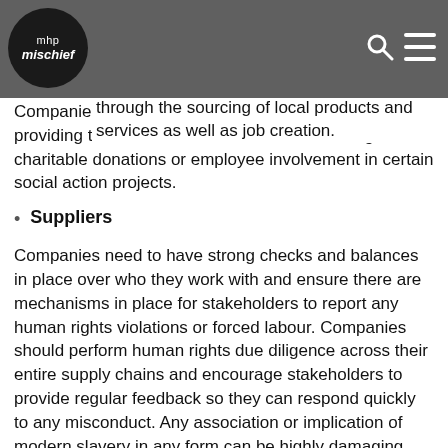mhp mischief
and in turn reducing poverty and inequality. Businesses show how they are creating economic and prosperity in the communities within which they operate. This can be through the sourcing of local products and services as well as job creation. Companies can also show what support they are providing to their local communities, be it through charitable donations or employee involvement in certain social action projects.
Suppliers
Companies need to have strong checks and balances in place over who they work with and ensure there are mechanisms in place for stakeholders to report any human rights violations or forced labour. Companies should perform human rights due diligence across their entire supply chains and encourage stakeholders to provide regular feedback so they can respond quickly to any misconduct. Any association or implication of modern slavery in any form can be highly damaging with Boohoo being a prime example of a reputational crisis that can ensue.